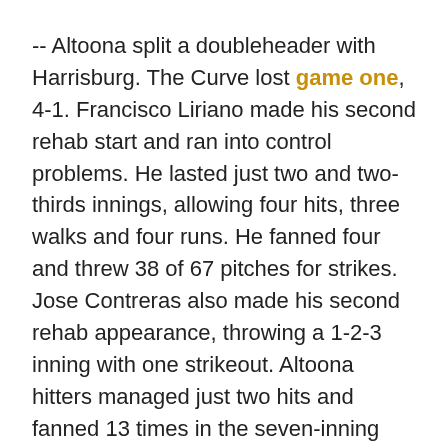-- Altoona split a doubleheader with Harrisburg. The Curve lost game one, 4-1. Francisco Liriano made his second rehab start and ran into control problems. He lasted just two and two-thirds innings, allowing four hits, three walks and four runs. He fanned four and threw 38 of 67 pitches for strikes. Jose Contreras also made his second rehab appearance, throwing a 1-2-3 inning with one strikeout. Altoona hitters managed just two hits and fanned 13 times in the seven-inning game. Matt Curry and Andrew Lambo had the two hits, both 1st inning doubles.
The Curve took game two, 9-7 in eleven innings after blowing an early five-run lead. Altoona hitters struck out another 14 times, but Matt Curry and Andrew Lambo each drove in three runs, and Charlie Cutler hit